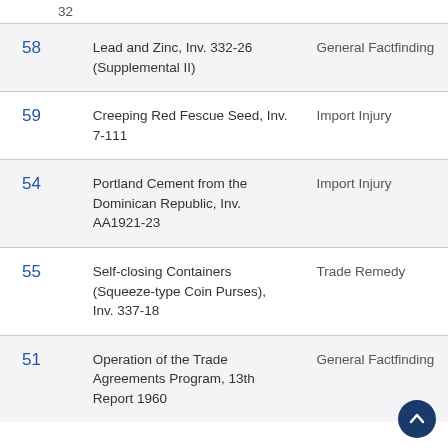32
|  | Title | Type |
| --- | --- | --- |
| 58 | Lead and Zinc, Inv. 332-26 (Supplemental II) | General Factfinding |
| 59 | Creeping Red Fescue Seed, Inv. 7-111 | Import Injury |
| 54 | Portland Cement from the Dominican Republic, Inv. AA1921-23 | Import Injury |
| 55 | Self-closing Containers (Squeeze-type Coin Purses), Inv. 337-18 | Trade Remedy |
| 51 | Operation of the Trade Agreements Program, 13th Report 1960 | General Factfinding |